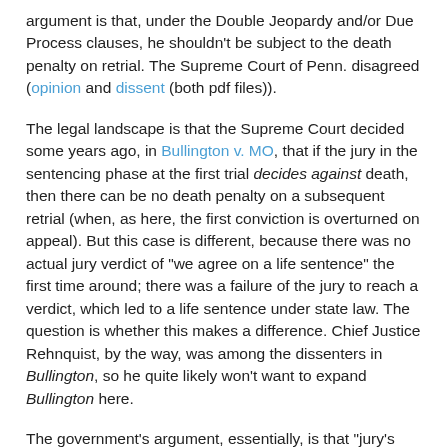argument is that, under the Double Jeopardy and/or Due Process clauses, he shouldn't be subject to the death penalty on retrial. The Supreme Court of Penn. disagreed (opinion and dissent (both pdf files)).
The legal landscape is that the Supreme Court decided some years ago, in Bullington v. MO, that if the jury in the sentencing phase at the first trial decides against death, then there can be no death penalty on a subsequent retrial (when, as here, the first conviction is overturned on appeal). But this case is different, because there was no actual jury verdict of "we agree on a life sentence" the first time around; there was a failure of the jury to reach a verdict, which led to a life sentence under state law. The question is whether this makes a difference. Chief Justice Rehnquist, by the way, was among the dissenters in Bullington, so he quite likely won't want to expand Bullington here.
The government's argument, essentially, is that "jury's failure to decide" is very different from "jury's decision against death penalty." For instance, when a jury fails to reach a verdict on guilt, we allow a retrial – rather than saying "the prosecution